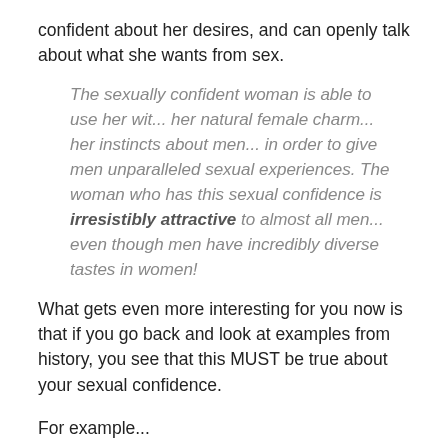confident about her desires, and can openly talk about what she wants from sex.
The sexually confident woman is able to use her wit... her natural female charm... her instincts about men... in order to give men unparalleled sexual experiences. The woman who has this sexual confidence is irresistibly attractive to almost all men... even though men have incredibly diverse tastes in women!
What gets even more interesting for you now is that if you go back and look at examples from history, you see that this MUST be true about your sexual confidence.
For example...